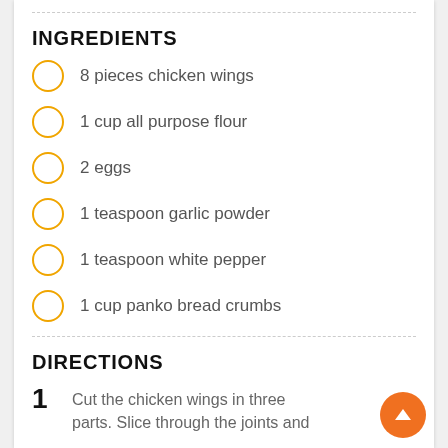INGREDIENTS
8 pieces chicken wings
1 cup all purpose flour
2 eggs
1 teaspoon garlic powder
1 teaspoon white pepper
1 cup panko bread crumbs
DIRECTIONS
1  Cut the chicken wings in three parts. Slice through the joints and